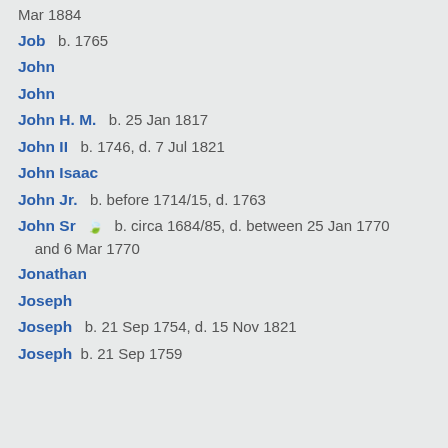Mar 1884
Job   b. 1765
John
John
John H. M.   b. 25 Jan 1817
John II   b. 1746, d. 7 Jul 1821
John Isaac
John Jr.   b. before 1714/15, d. 1763
John Sr  [icon]  b. circa 1684/85, d. between 25 Jan 1770 and 6 Mar 1770
Jonathan
Joseph
Joseph   b. 21 Sep 1754, d. 15 Nov 1821
Joseph   b. 21 Sep 1759